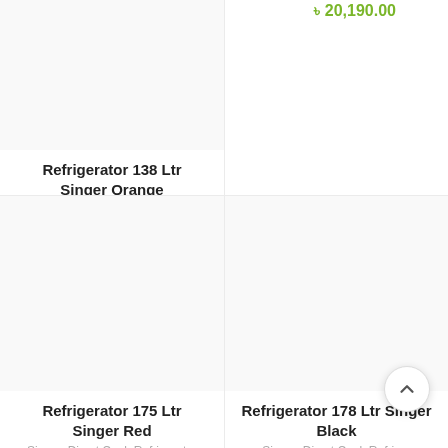৳ 20,190.00
Refrigerator 138 Ltr Singer Orange
Singer, Direct Cool, Refrigerator
৳ 20,490.00
[Figure (photo): Product image area for Refrigerator 175 Ltr Singer Red (blank/white placeholder)]
Refrigerator 175 Ltr Singer Red
Singer, Direct Cool, Refrigerator
[Figure (photo): Product image area for Refrigerator 178 Ltr Singer Black (blank/white placeholder)]
Refrigerator 178 Ltr Singer Black
Singer, Direct Cool, Refrig...